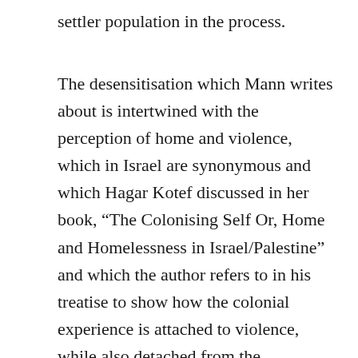settler population in the process.
The desensitisation which Mann writes about is intertwined with the perception of home and violence, which in Israel are synonymous and which Hagar Kotef discussed in her book, “The Colonising Self Or, Home and Homelessness in Israel/Palestine” and which the author refers to in his treatise to show how the colonial experience is attached to violence, while also detached from the consequences which the Palestinian victims suffer. The home is also the place where Israelis can view through media technology and in a detached manner, the IDF’s violence against Palestinian civilians. Building upon Kotef’s research, Mann writes how the home rooted in colonial violence sanctifies life for the colonisers and vilifies, as well as constructs a site of